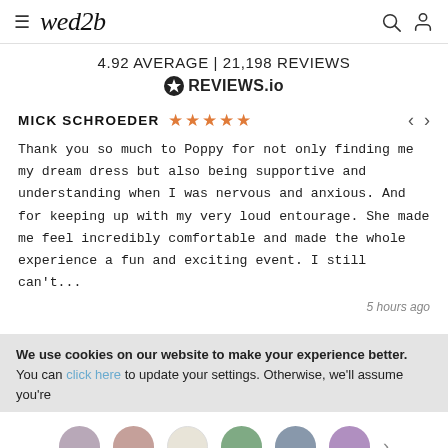wed2b
4.92 AVERAGE | 21,198 REVIEWS
[Figure (logo): REVIEWS.io badge logo]
MICK SCHROEDER ★★★★★
Thank you so much to Poppy for not only finding me my dream dress but also being supportive and understanding when I was nervous and anxious. And for keeping up with my very loud entourage. She made me feel incredibly comfortable and made the whole experience a fun and exciting event. I still can't...
5 hours ago
We use cookies on our website to make your experience better. You can click here to update your settings. Otherwise, we'll assume you're
[Figure (other): Six color swatches: mauve, dusty rose, cream, sage green, slate blue, lavender]